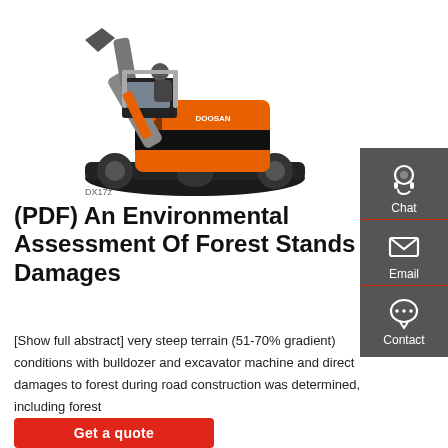[Figure (photo): Orange and black Doosan mini excavator (model DX17z) with a person operating it, shown on a white background.]
(PDF) An Environmental Assessment Of Forest Stands Damages
[Show full abstract] very steep terrain (51-70% gradient) conditions with bulldozer and excavator machine and direct damages to forest during road construction was determined, including forest
[Figure (infographic): Sidebar with three icons and labels: Chat (headset icon), Email (envelope icon), Contact (speech bubble with dots icon), on a dark grey background with red dividers.]
Get a quote